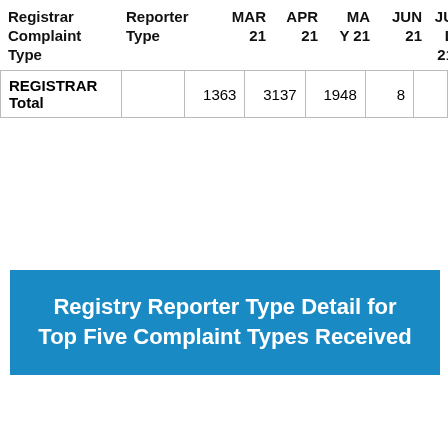| Registrar Complaint Type | Reporter Type | MAR 21 | APR 21 | MAY 21 | JUN 21 | JUL 21 |
| --- | --- | --- | --- | --- | --- | --- |
| REGISTRAR Total |  | 1363 | 3137 | 1948 | 8 |  |
Registry Reporter Type Detail for Top Five Complaint Types Received
A note about our terms of service: We have updated our electronic terms of service to provide greater transparency and align with laws applicable to us. Learn more.
This site uses cookies to deliver an efficient user experience and to help us see how the site is used. Learn more. ✕OK